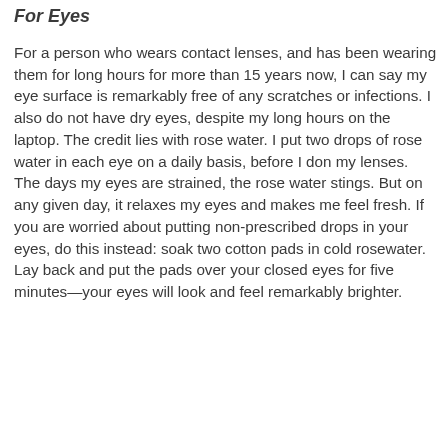For Eyes
For a person who wears contact lenses, and has been wearing them for long hours for more than 15 years now, I can say my eye surface is remarkably free of any scratches or infections. I also do not have dry eyes, despite my long hours on the laptop. The credit lies with rose water. I put two drops of rose water in each eye on a daily basis, before I don my lenses. The days my eyes are strained, the rose water stings. But on any given day, it relaxes my eyes and makes me feel fresh. If you are worried about putting non-prescribed drops in your eyes, do this instead: soak two cotton pads in cold rosewater. Lay back and put the pads over your closed eyes for five minutes—your eyes will look and feel remarkably brighter.